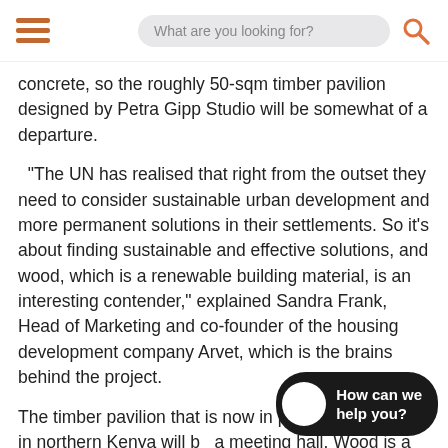What are you looking for?
concrete, so the roughly 50-sqm timber pavilion designed by Petra Gipp Studio will be somewhat of a departure.
“The UN has realised that right from the outset they need to consider sustainable urban development and more permanent solutions in their settlements. So it’s about finding sustainable and effective solutions, and wood, which is a renewable building material, is an interesting contender,” explained Sandra Frank, Head of Marketing and co-founder of the housing development company Arvet, which is the brains behind the project.
The timber pavilion that is now in place in Kalobeyei in northern Kenya will be a meeting hall. Wood is a renewable building material with a significantly carbon footprint compared to steel and